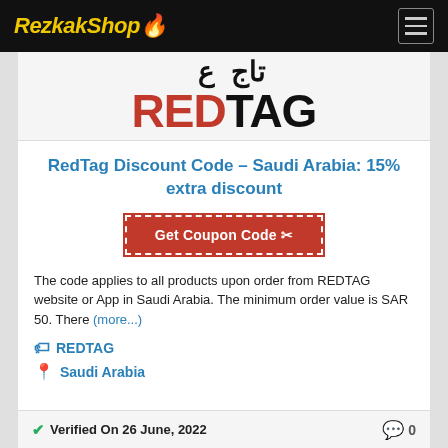RezkakShop 🔥
[Figure (logo): RedTag logo showing Arabic text above and REDTAG in large bold text with RED in red and TAG in black]
RedTag Discount Code – Saudi Arabia: 15% extra discount
Get Coupon Code ✂
The code applies to all products upon order from REDTAG website or App in Saudi Arabia. The minimum order value is SAR 50. There (more...)
🏷 REDTAG
📍 Saudi Arabia
✔ Verified On 26 June, 2022   💬 0